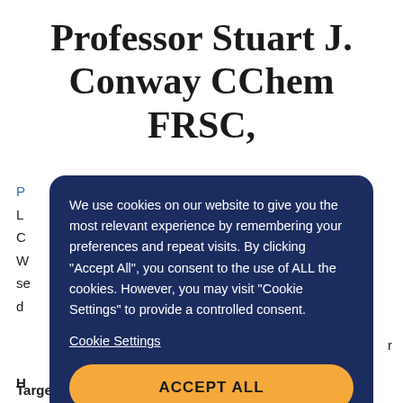Professor Stuart J. Conway CChem FRSC,
[Figure (screenshot): Cookie consent overlay dialog on a dark navy blue rounded rectangle background. Contains cookie policy text, a 'Cookie Settings' link, and an 'ACCEPT ALL' button in yellow/orange.]
Targets for Oncology